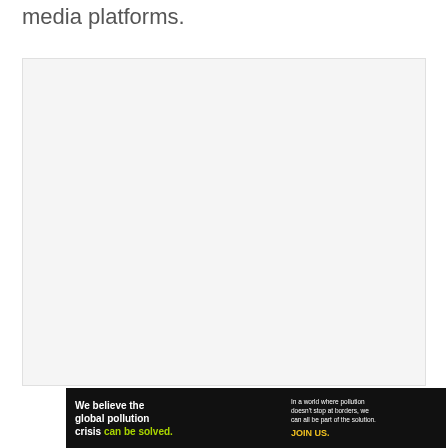media platforms.
[Figure (other): Large blank/white image placeholder box]
[Figure (other): Pure Earth advertisement banner. Left section: 'We believe the global pollution crisis can be solved.' Middle: 'In a world where pollution doesn't stop at borders, we can all be part of the solution. JOIN US.' Right: Pure Earth logo with diamond/shield icon.]